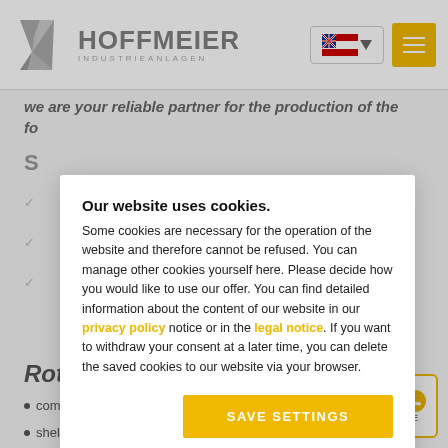[Figure (logo): Hoffmeier Industrieanlagen company logo with geometric H icon in grey]
we are your reliable partner for the production of the fo...
Our website uses cookies. Some cookies are necessary for the operation of the website and therefore cannot be refused. You can manage other cookies yourself here. Please decide how you would like to use our offer. You can find detailed information about the content of our website in our privacy policy notice or in the legal notice. If you want to withdraw your consent at a later time, you can delete the saved cookies to our website via your browser.
Rotary Kiln
complete cylinders
shell sections
complete tyre sections